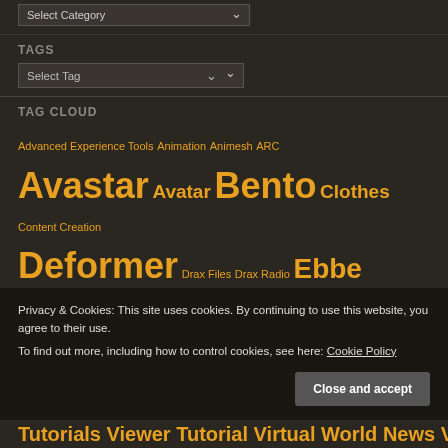Select Category (dropdown)
TAGS
Select Tag (dropdown)
TAG CLOUD
Advanced Experience Tools Animation Animesh ARC Avastar Avatar Bento Clothes Content Creation Deformer Drax Files Drax Radio Ebbe Altberg EEP Events Fitted Mesh Google Chrome JIRA Linden Currency Mesh Mesh Body Mesh Tutorial MetaReality Net Neutrality News Articles on
Privacy & Cookies: This site uses cookies. By continuing to use this website, you agree to their use. To find out more, including how to control cookies, see here: Cookie Policy
Close and accept
Tutorials Viewer Tutorial Virtual World News VR